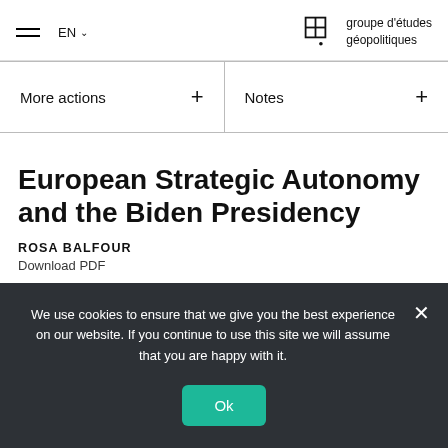EN  |  groupe d'études géopolitiques
More actions  +
Notes  +
European Strategic Autonomy and the Biden Presidency
Rosa Balfour
Download PDF
We use cookies to ensure that we give you the best experience on our website. If you continue to use this site we will assume that you are happy with it.